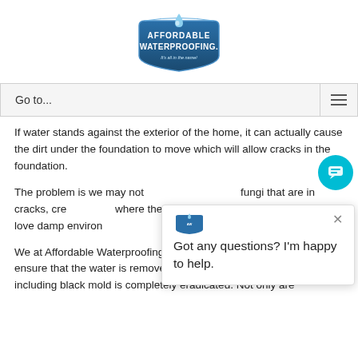[Figure (logo): Affordable Waterproofing logo with blue shield shape, water drop, and text 'AFFORDABLE WATERPROOFING. It's all in the name!']
Go to...
If water stands against the exterior of the home, it can actually cause the dirt under the foundation to move which will allow cracks in the foundation.
The problem is we may not fungi that are in cracks, cre where the water stayed fo bacteria love damp environ every crack they can find.
[Figure (screenshot): Chat popup overlay with small Affordable Waterproofing icon, X close button, and text 'Got any questions? I'm happy to help.' with a teal chat bubble button in the bottom right]
We at Affordable Waterproofing offer all the services yo to ensure that the water is removed professionally and th mold including black mold is completely eradicated. Not only are